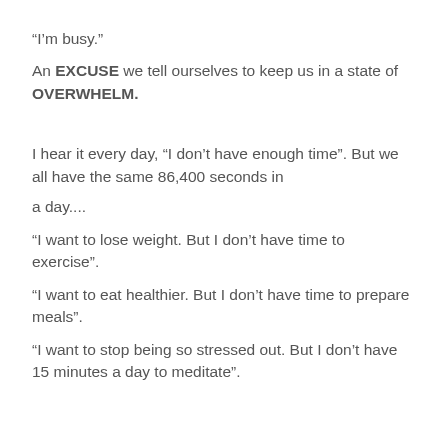“I’m busy.”
An EXCUSE we tell ourselves to keep us in a state of OVERWHELM.
I hear it every day, “I don’t have enough time”. But we all have the same 86,400 seconds in
a day....
“I want to lose weight. But I don’t have time to exercise”.
“I want to eat healthier. But I don’t have time to prepare meals”.
“I want to stop being so stressed out. But I don’t have 15 minutes a day to meditate”.